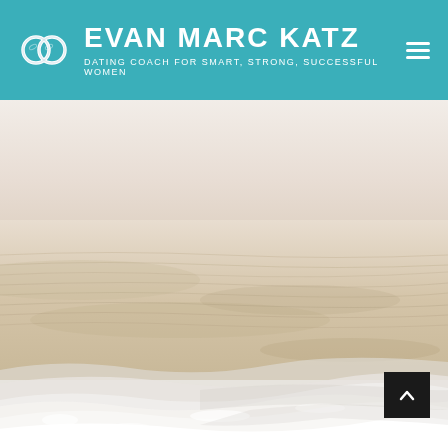[Figure (logo): Evan Marc Katz website header with teal background, two interlinked rings logo, brand name EVAN MARC KATZ, tagline DATING COACH FOR SMART, STRONG, SUCCESSFUL WOMEN, and hamburger menu icon]
[Figure (photo): Aerial view of a sandy beach with ocean waves lapping at the shoreline, sandy beige tones with white foam waves in the lower portion]